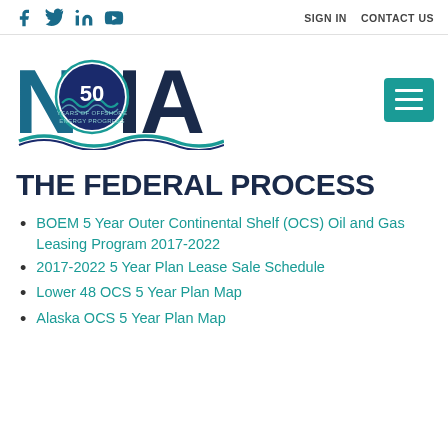Social icons: f, Twitter, in, YouTube | SIGN IN  CONTACT US
[Figure (logo): NOIA (National Ocean Industries Association) logo with 50 Years of Offshore Energy Progress badge]
THE FEDERAL PROCESS
BOEM 5 Year Outer Continental Shelf (OCS) Oil and Gas Leasing Program 2017-2022
2017-2022 5 Year Plan Lease Sale Schedule
Lower 48 OCS 5 Year Plan Map
Alaska OCS 5 Year Plan Map